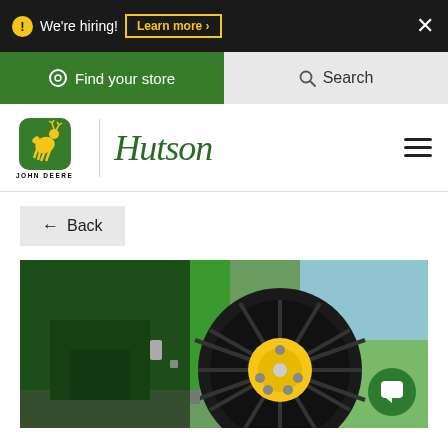We're hiring! Learn more >
Find your store
Search
[Figure (logo): John Deere and Hutson dealership logo with green leaping deer icon and Hutson script wordmark]
← Back
[Figure (photo): Close-up of a John Deere mower with an airless (Tweel) tire featuring a yellow hub and spoke-like rubber structure, green mower body visible, grass background]